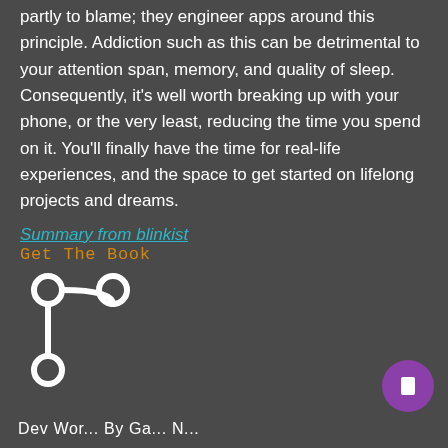partly to blame; they engineer apps around this principle. Addiction such as this can be detrimental to your attention span, memory, and quality of sleep. Consequently, it's well worth breaking up with your phone, or the very least, reducing the time you spend on it. You'll finally have the time for real-life experiences, and the space to get started on lifelong projects and dreams.
Summary from blinkist
Get The Book
[Figure (logo): Git branch / source control icon in white, showing two circles connected by a curved branch path with a third circle]
[Figure (other): Purple circular button with a white rectangular icon in the center]
Dev Wor... By Ga... N...